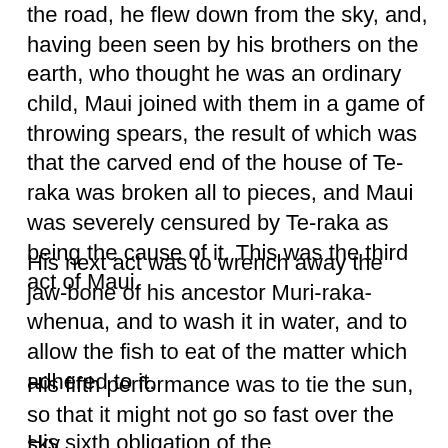the road, he flew down from the sky, and, having been seen by his brothers on the earth, who thought he was an ordinary child, Maui joined with them in a game of throwing spears, the result of which was that the carved end of the house of Te-raka was broken all to pieces, and Maui was severely censured by Te-raka as being the cause of it. This was the third act of Maui.
His next act was to wrench away the jaw-bone of his ancestor Muri-raka-whenua, and to wash it in water, and to allow the fish to eat of the matter which adhered to it.
His fifth performance was to tie the sun, so that it might not go so fast over the sky.
His sixth obligation of the